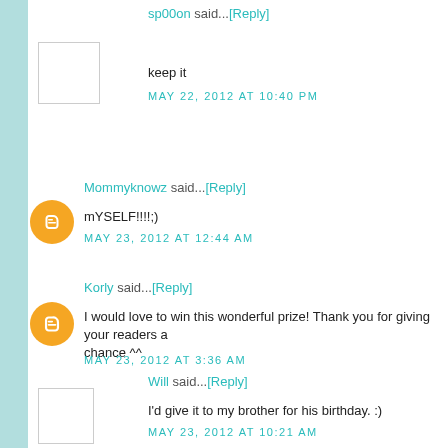sp00on said...[Reply]
keep it
MAY 22, 2012 AT 10:40 PM
Mommyknowz said...[Reply]
mYSELF!!!!;)
MAY 23, 2012 AT 12:44 AM
Korly said...[Reply]
I would love to win this wonderful prize! Thank you for giving your readers a chance ^^
MAY 23, 2012 AT 3:36 AM
Will said...[Reply]
I'd give it to my brother for his birthday. :)
MAY 23, 2012 AT 10:21 AM
Unknown said...[Reply]
I would keep it, I just won one for a Mother's day contest for my Mom, she...